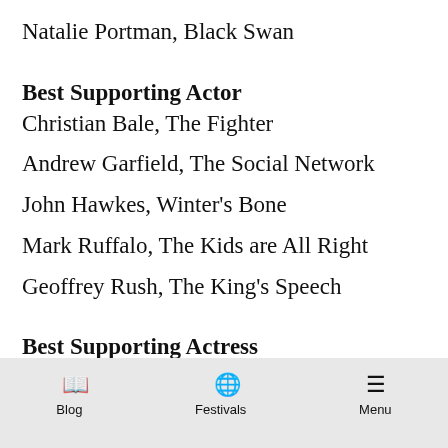Natalie Portman, Black Swan
Best Supporting Actor
Christian Bale, The Fighter
Andrew Garfield, The Social Network
John Hawkes, Winter's Bone
Mark Ruffalo, The Kids are All Right
Geoffrey Rush, The King's Speech
Best Supporting Actress
Amy Adams, The Fighter
Mila Kunis, Black Swan
Melissa Leo, The Fighter
Blog   Festivals   Menu